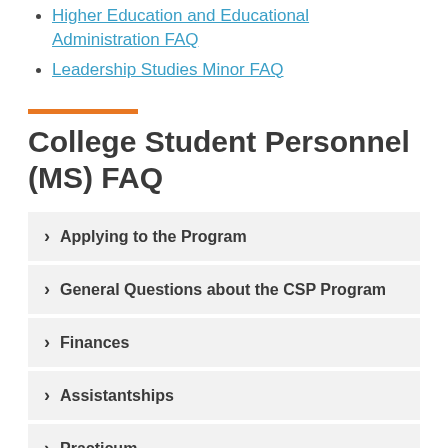Higher Education and Educational Administration FAQ
Leadership Studies Minor FAQ
College Student Personnel (MS) FAQ
Applying to the Program
General Questions about the CSP Program
Finances
Assistantships
Practicum